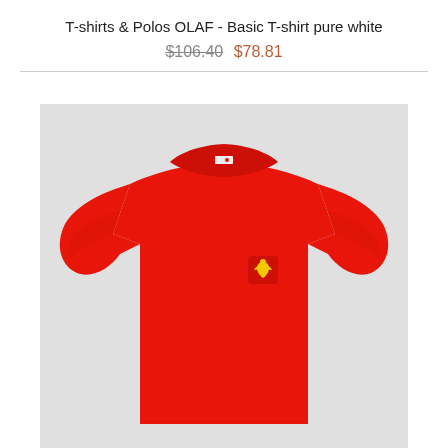T-shirts & Polos OLAF - Basic T-shirt pure white
$106.40 $78.81
[Figure (photo): Red basic t-shirt with a small yellow eagle logo patch on the left chest, displayed on a light grey background. The t-shirt has a crew neck and short sleeves.]